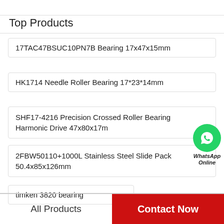Top Products
17TAC47BSUC10PN7B Bearing 17x47x15mm
HK1714 Needle Roller Bearing 17*23*14mm
SHF17-4216 Precision Crossed Roller Bearing Harmonic Drive 47x80x17m
2FBW50110+1000L Stainless Steel Slide Pack 50.4x85x126mm
timken 3820 bearing
All Products   Contact Now